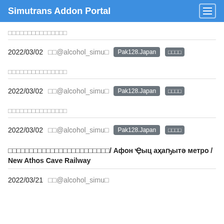Simutrans Addon Portal
□□□□□□□□□□□□□□□
2022/03/02   □□@alcohol_simu□   Pak128.Japan   □□□□
□□□□□□□□□□□□□□□
2022/03/02   □□@alcohol_simu□   Pak128.Japan   □□□□
□□□□□□□□□□□□□□□
2022/03/02   □□@alcohol_simu□   Pak128.Japan   □□□□
□□□□□□□□□□□□□□□□□□□□□□□□/ Афон Ҿыц аҳаҧытә метро / New Athos Cave Railway
2022/03/21   □□@alcohol_simu□